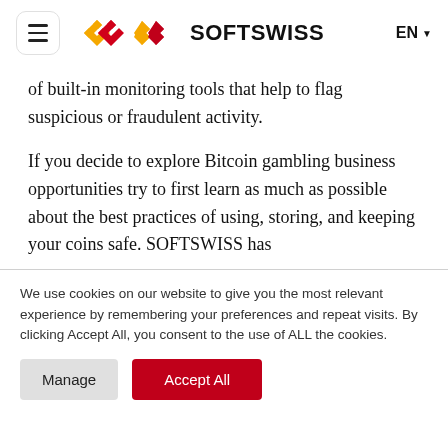SOFTSWISS — EN
of built-in monitoring tools that help to flag suspicious or fraudulent activity.
If you decide to explore Bitcoin gambling business opportunities try to first learn as much as possible about the best practices of using, storing, and keeping your coins safe. SOFTSWISS has
We use cookies on our website to give you the most relevant experience by remembering your preferences and repeat visits. By clicking Accept All, you consent to the use of ALL the cookies.